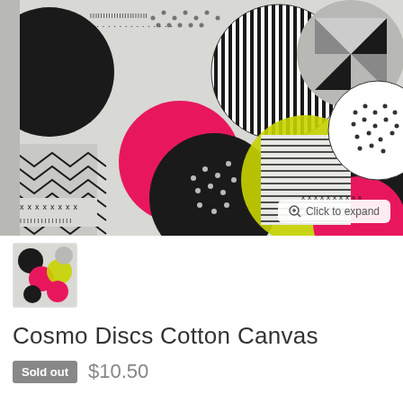[Figure (photo): Close-up product photo of Cosmo Discs Cotton Canvas fabric featuring large overlapping circles with various black-and-white geometric patterns (stripes, dots, chevrons, crosses, triangles) and colorful accent circles in hot pink and yellow-green on a light grey background. A 'Click to expand' button overlay appears in the bottom right corner.]
[Figure (photo): Small thumbnail image of the same Cosmo Discs Cotton Canvas fabric showing the colorful disc pattern.]
Cosmo Discs Cotton Canvas
Sold out  $10.50